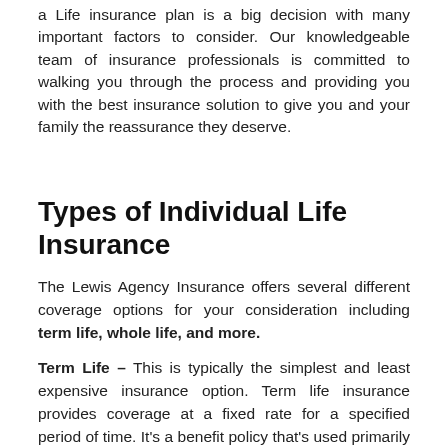a Life insurance plan is a big decision with many important factors to consider. Our knowledgeable team of insurance professionals is committed to walking you through the process and providing you with the best insurance solution to give you and your family the reassurance they deserve.
Types of Individual Life Insurance
The Lewis Agency Insurance offers several different coverage options for your consideration including term life, whole life, and more.
Term Life – This is typically the simplest and least expensive insurance option. Term life insurance provides coverage at a fixed rate for a specified period of time. It's a benefit policy that's used primarily to cover financial responsibilities of the insured, with the benefit to be paid